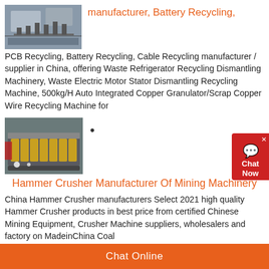[Figure (photo): Industrial recycling or manufacturing machinery, close-up photo]
manufacturer, Battery Recycling,
PCB Recycling, Battery Recycling, Cable Recycling manufacturer / supplier in China, offering Waste Refrigerator Recycling Dismantling Machinery, Waste Electric Motor Stator Dismantling Recycling Machine, 500kg/H Auto Integrated Copper Granulator/Scrap Copper Wire Recycling Machine for
[Figure (photo): Hammer crusher / industrial crusher machine, photo of a large crushing unit with yellow rollers]
Hammer Crusher Manufacturer Of Mining Machinery
China Hammer Crusher manufacturers Select 2021 high quality Hammer Crusher products in best price from certified Chinese Mining Equipment, Crusher Machine suppliers, wholesalers and factory on MadeinChina Coal
Chat Online